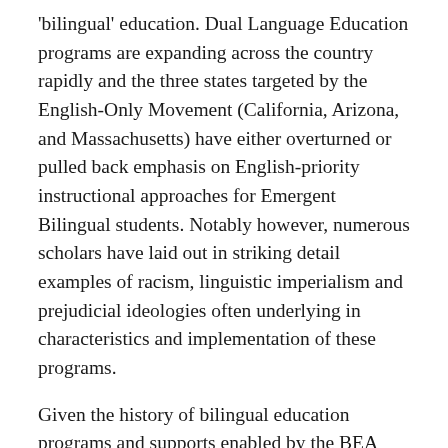'bilingual' education. Dual Language Education programs are expanding across the country rapidly and the three states targeted by the English-Only Movement (California, Arizona, and Massachusetts) have either overturned or pulled back emphasis on English-priority instructional approaches for Emergent Bilingual students. Notably however, numerous scholars have laid out in striking detail examples of racism, linguistic imperialism and prejudicial ideologies often underlying in characteristics and implementation of these programs.
Given the history of bilingual education programs and supports enabled by the BEA and Title VII, now may be a pivotal time to examine whether these could be re-conceptualized in ways that serve existing and new programs— and also